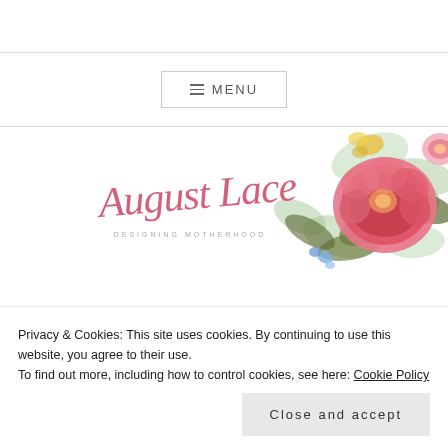≡ MENU
[Figure (logo): August Lace blog logo with script text 'August Lace' in pink and subtitle 'DESIGNING MOTHERHOOD', alongside a watercolor floral illustration of pink peonies, green leaves, and small flowers on white background]
Privacy & Cookies: This site uses cookies. By continuing to use this website, you agree to their use.
To find out more, including how to control cookies, see here: Cookie Policy
Close and accept